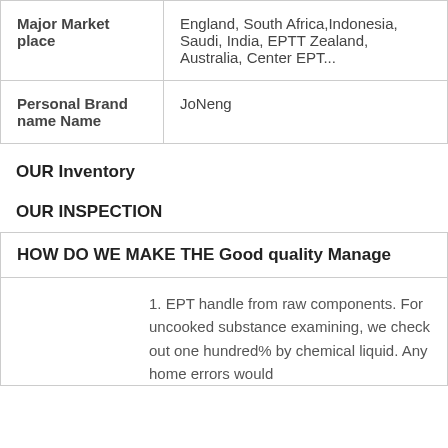|  |  |
| --- | --- |
| Major Market place | England, South Africa,Indonesia, Saudi, India, EPTT Zealand, Australia, Center EPT... |
| Personal Brand name Name | JoNeng |
OUR Inventory
OUR INSPECTION
| HOW DO WE MAKE THE Good quality Manage |
| --- |
|  | 1. EPT handle from raw components. For uncooked substance examining, we check out one hundred% by chemical liquid. Any home errors would |